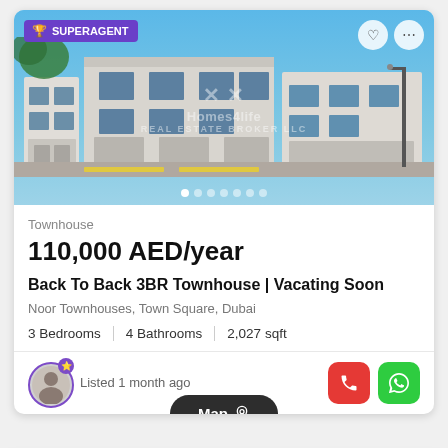[Figure (photo): Exterior photo of a modern townhouse development with white/grey buildings, clear blue sky, road in foreground. Watermark reads 'Homes4Life Real Estate Broker LLC'.]
Townhouse
110,000 AED/year
Back To Back 3BR Townhouse | Vacating Soon
Noor Townhouses, Town Square, Dubai
3 Bedrooms  |  4 Bathrooms  |  2,027 sqft
Listed 1 month ago
Map
VERIFIED